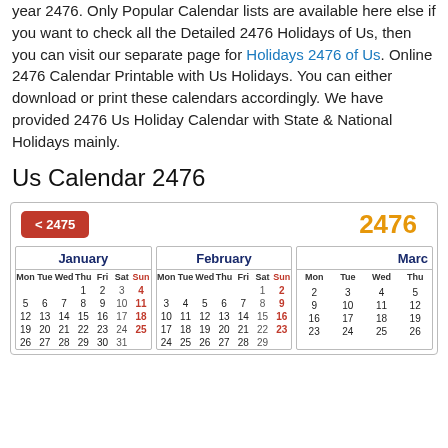year 2476. Only Popular Calendar lists are available here else if you want to check all the Detailed 2476 Holidays of Us, then you can visit our separate page for Holidays 2476 of Us. Online 2476 Calendar Printable with Us Holidays. You can either download or print these calendars accordingly. We have provided 2476 Us Holiday Calendar with State & National Holidays mainly.
Us Calendar 2476
[Figure (other): 2476 calendar widget showing navigation button < 2475, year label 2476, and three month calendars: January, February, March with Mon-Sun columns and dates.]